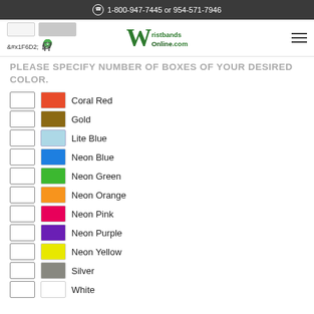1-800-947-7445 or 954-571-7946
[Figure (logo): WristbandsOnline.com logo with shopping cart (0 items) and hamburger menu]
PLEASE SPECIFY NUMBER OF BOXES OF YOUR DESIRED COLOR.
Coral Red
Gold
Lite Blue
Neon Blue
Neon Green
Neon Orange
Neon Pink
Neon Purple
Neon Yellow
Silver
White